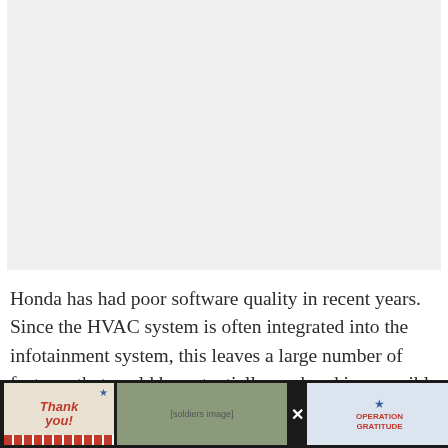[Figure (photo): Placeholder image area, light gray background, likely a vehicle or Honda-related photo]
Honda has had poor software quality in recent years. Since the HVAC system is often integrated into the infotainment system, this leaves a large number of features that could be potentially rendered inaccessible if the software were to freeze.
It's always a good idea to look for a vehicle that has physical buttons instead of
[Figure (infographic): Advertisement banner at bottom: 'Thank you!' with flag design, soldiers photo, Operation Gratitude logo, and close buttons]